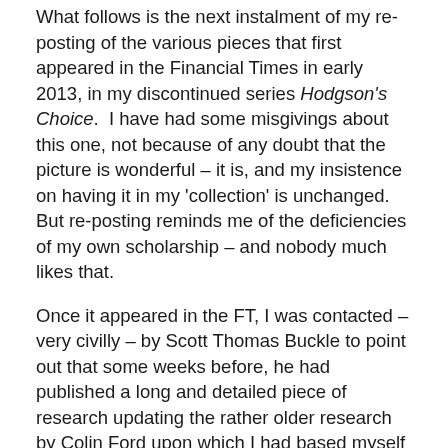What follows is the next instalment of my re-posting of the various pieces that first appeared in the Financial Times in early 2013, in my discontinued series Hodgson's Choice.  I have had some misgivings about this one, not because of any doubt that the picture is wonderful – it is, and my insistence on having it in my 'collection' is unchanged.  But re-posting reminds me of the deficiencies of my own scholarship – and nobody much likes that.
Once it appeared in the FT, I was contacted – very civilly – by Scott Thomas Buckle to point out that some weeks before, he had published a long and detailed piece of research updating the rather older research by Colin Ford upon which I had based myself here – to the effect that the model used by Julia Cameron pretty certainly was not the one I wrote about, but another.  I simply hadn't read his article.  According to Buckle – and his view will not, I think,